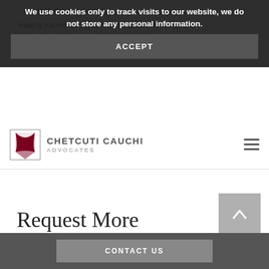Having earned its reputation in exclusive living and International titles, was started in Malta.
We use cookies only to track visits to our website, we do not store any personal information.
ACCEPT
[Figure (logo): Chetcuti Cauchi Advocates logo with red geometric diamond shape and firm name]
CHETCUTI CAUCHI ADVOCATES
Request More Information
CONTACT US